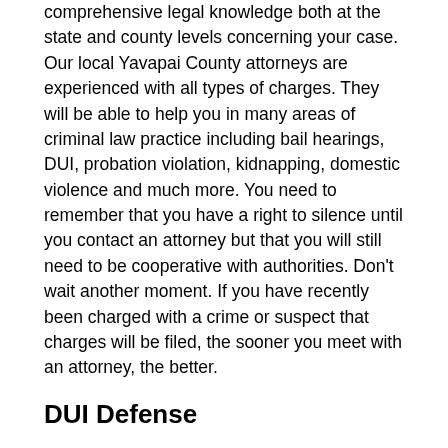comprehensive legal knowledge both at the state and county levels concerning your case. Our local Yavapai County attorneys are experienced with all types of charges. They will be able to help you in many areas of criminal law practice including bail hearings, DUI, probation violation, kidnapping, domestic violence and much more. You need to remember that you have a right to silence until you contact an attorney but that you will still need to be cooperative with authorities. Don't wait another moment. If you have recently been charged with a crime or suspect that charges will be filed, the sooner you meet with an attorney, the better.
DUI Defense
One of the most common charges when it comes to local law is a DUI charge. Many lawyers practice DUI defense but charges and legal procedures differ greatly between individual counties. Depending on specific local laws, you could be looking at any number of consequences from heavy fines to a suspended driver's license to jail time.